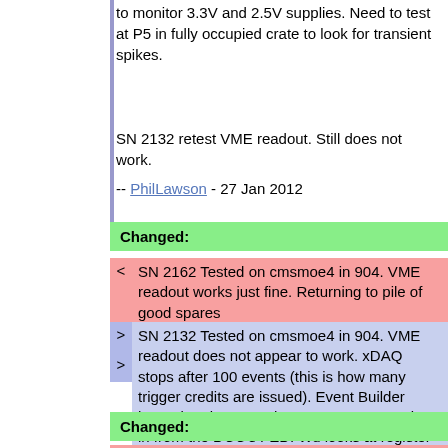to monitor 3.3V and 2.5V supplies. Need to test at P5 in fully occupied crate to look for transient spikes.
SN 2132 retest VME readout. Still does not work.
-- PhilLawson - 27 Jan 2012
Changed:
< SN 2162 Tested on cmsmoe4 in 904. VME readout works just fine. Returning to pile of good spares
> SN 2132 Tested on cmsmoe4 in 904. VME readout does not appear to work. xDAQ stops after 100 events (this is how many trigger credits are issued). Event Builder hyperdaq does not show any events coming in from the DCC's FED. Wu looks at register dump and states that it appears as if the VME spy buffer was already read out. Did the events get "dropped" in software? Why only for this board? Unclear. Needs further investigation.
Changed: